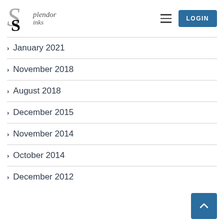Splendor Sinks — LOGIN
January 2021
November 2018
August 2018
December 2015
November 2014
October 2014
December 2012